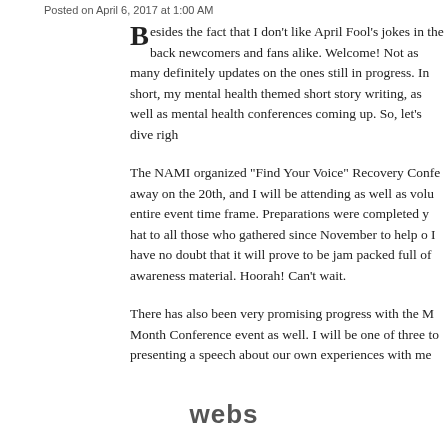Posted on April 6, 2017 at 1:00 AM
Besides the fact that I don't like April Fool's jokes in the back newcomers and fans alike. Welcome! Not as many definitely updates on the ones still in progress. In short, my mental health themed short story writing, as well as mental health conferences coming up. So, let's dive righ
The NAMI organized "Find Your Voice" Recovery Confe away on the 20th, and I will be attending as well as volu entire event time frame. Preparations were completed y hat to all those who gathered since November to help o I have no doubt that it will prove to be jam packed full of awareness material. Hoorah! Can't wait.
There has also been very promising progress with the M Month Conference event as well. I will be one of three to presenting a speech about our own experiences with me
[Figure (logo): webs logo in gray sans-serif font]